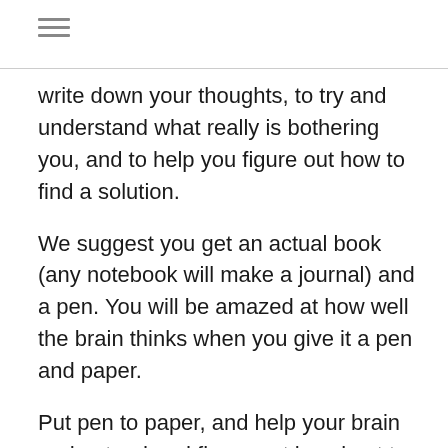☰
write down your thoughts, to try and understand what really is bothering you, and to help you figure out how to find a solution.
We suggest you get an actual book (any notebook will make a journal) and a pen. You will be amazed at how well the brain thinks when you give it a pen and paper.
Put pen to paper, and help your brain understand and figure out how best to move from where you are to where you want to be.
Endorphins to elevate your mood